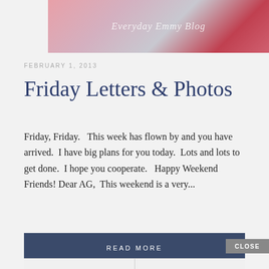[Figure (photo): Top banner photo showing folded pink, white, and red clothing items with overlay text 'Everyday Emmy Blog']
FEBRUARY 1, 2013
Friday Letters & Photos
Friday, Friday.   This week has flown by and you have arrived.  I have big plans for you today.  Lots and lots to get done.  I hope you cooperate.   Happy Weekend Friends! Dear AG,  This weekend is a very...
READ MORE
[Figure (photo): Bottom partial strip showing two side-by-side photos, each showing partial views of items on white background]